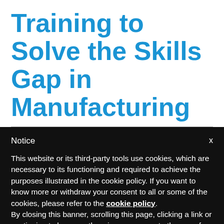Training to Solve the Skills Gap in Manufacturing
Notice
This website or its third-party tools use cookies, which are necessary to its functioning and required to achieve the purposes illustrated in the cookie policy. If you want to know more or withdraw your consent to all or some of the cookies, please refer to the cookie policy.
By closing this banner, scrolling this page, clicking a link or continuing to browse otherwise, you agree to the use of cookies.